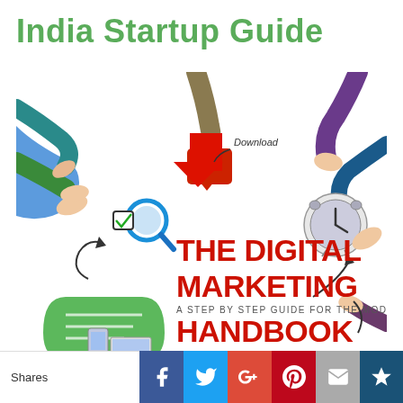India Startup Guide
[Figure (photo): Book cover for 'The Digital Marketing Handbook: A Step by Step Guide for the Modern Marketer' by Mohit Pawar, 2015 Edition. Shows multiple hands pointing at digital marketing icons including a download arrow, magnifying glass, clock, chat bubble, and various devices on a white background. The title is in bold red text.]
Shares